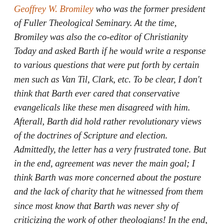Geoffrey W. Bromiley who was the former president of Fuller Theological Seminary. At the time, Bromiley was also the co-editor of Christianity Today and asked Barth if he would write a response to various questions that were put forth by certain men such as Van Til, Clark, etc. To be clear, I don't think that Barth ever cared that conservative evangelicals like these men disagreed with him. Afterall, Barth did hold rather revolutionary views of the doctrines of Scripture and election. Admittedly, the letter has a very frustrated tone. But in the end, agreement was never the main goal; I think Barth was more concerned about the posture and the lack of charity that he witnessed from them since most know that Barth was never shy of criticizing the work of other theologians! In the end, Barth simply wanted these men to agree, not merely in